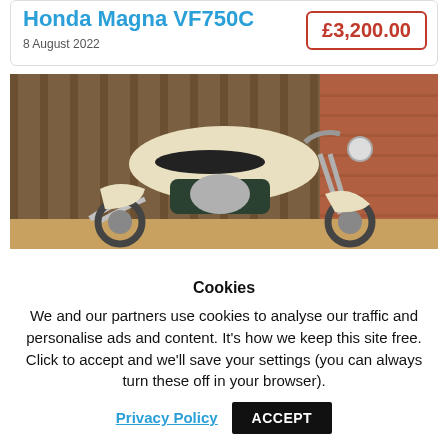Honda Magna VF750C
8 August 2022
£3,200.00
[Figure (photo): Cream and dark green Honda Magna VF750C cruiser motorcycle parked in front of a wooden fence and brick wall]
Cookies
We and our partners use cookies to analyse our traffic and personalise ads and content. It's how we keep this site free. Click to accept and we'll save your settings (you can always turn these off in your browser).
Privacy Policy
ACCEPT